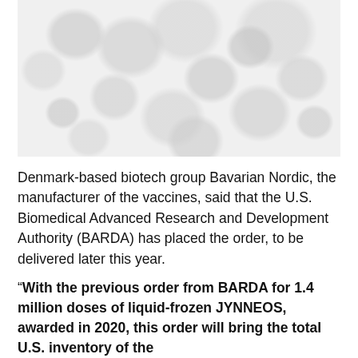[Figure (photo): Microscope image showing light gray circular/elliptical cell-like structures on a white background, resembling a viral or biological microscopy photograph.]
Denmark-based biotech group Bavarian Nordic, the manufacturer of the vaccines, said that the U.S. Biomedical Advanced Research and Development Authority (BARDA) has placed the order, to be delivered later this year.
“With the previous order from BARDA for 1.4 million doses of liquid-frozen JYNNEOS, awarded in 2020, this order will bring the total U.S. inventory of the